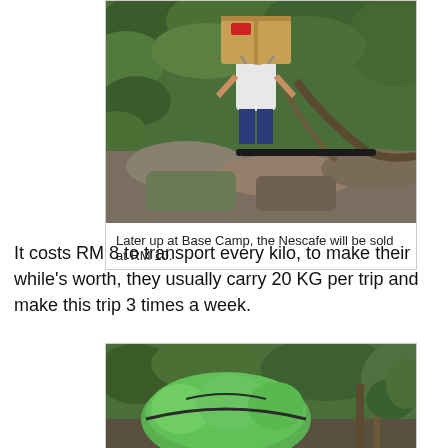[Figure (photo): Person carrying a large cardboard box on their back up a rocky jungle trail with lush green ferns and mossy rocks visible.]
Later up at Base Camp, the Nescafe will be sold at RM 10.
It costs RM 8 to transport every kilo, to make their while's worth, they usually carry 20 KG per trip and make this trip 3 times a week.
[Figure (photo): Green wrapped bundles of supplies tied with rope sitting on a jungle trail.]